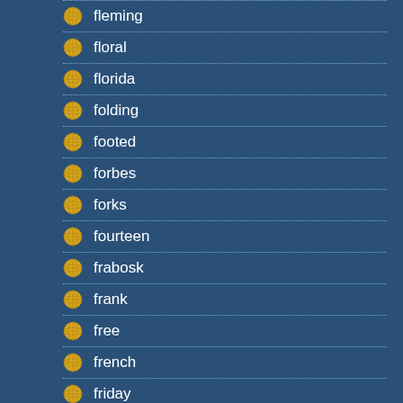fleming
floral
florida
folding
footed
forbes
forks
fourteen
frabosk
frank
free
french
friday
full
garage